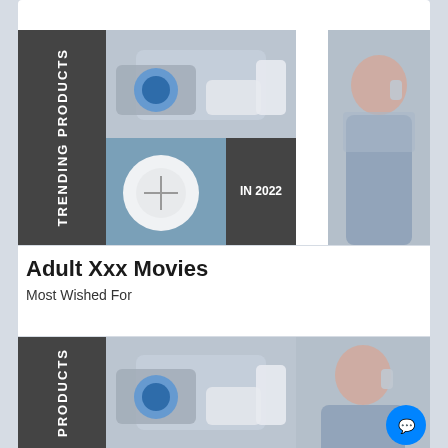[Figure (photo): Trending Products collage with dark sidebar label, wireless charger with Apple Watch and phone, round wireless charger, IN 2022 dark box, woman with earbuds wearing sweater]
Adult Xxx Movies
Most Wished For
[Figure (photo): Second trending products grid showing PRODUCTS dark sidebar label, wireless charger with Apple Watch and phone, woman with earbuds, Messenger chat button overlay]